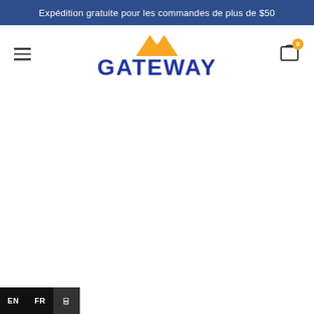Expédition gratuite pour les commandes de plus de $50
[Figure (logo): Gateway logo with golden mountain peaks above bold dark blue GATEWAY text]
EN FR □□